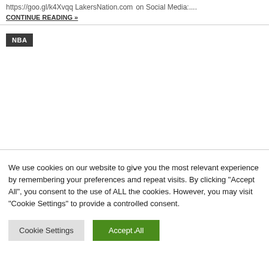https://goo.gl/k4Xvqq LakersNation.com on Social Media:....
CONTINUE READING »
NBA
We use cookies on our website to give you the most relevant experience by remembering your preferences and repeat visits. By clicking "Accept All", you consent to the use of ALL the cookies. However, you may visit "Cookie Settings" to provide a controlled consent.
Cookie Settings
Accept All